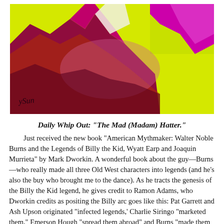[Figure (illustration): Colorful abstract painting with bright yellow-green background and dark magenta/purple/red mountainous or hat-like shapes. Artist signature visible in lower left corner.]
Daily Whip Out: "The Mad (Madam) Hatter."
Just received the new book "American Mythmaker: Walter Noble Burns and the Legends of Billy the Kid, Wyatt Earp and Joaquin Murrieta" by Mark Dworkin. A wonderful book about the guy—Burns—who really made all three Old West characters into legends (and he's also the buy who brought me to the dance). As he tracts the genesis of the Billy the Kid legend, he gives credit to Ramon Adams, who Dworkin credits as positing the Billy arc goes like this: Pat Garrett and Ash Upson originated "infected legends,' Charlie Siringo "marketed them," Emerson Hough "spread them abroad" and Burns "made them immortal." That says it all.
After the longer arc of the Billy the Kid legend...